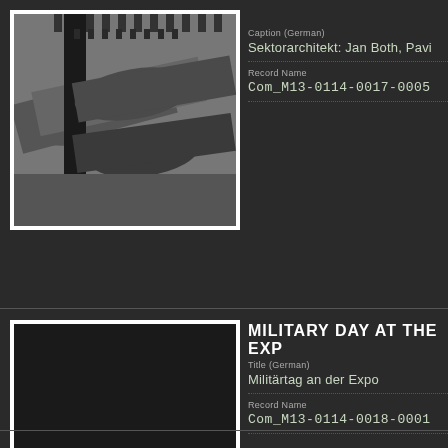[Figure (photo): Black and white photograph showing close-up of mechanical/military equipment, possibly artillery or aircraft components with gear-like teeth visible]
Caption (German)
Sektorarchitekt: Jan Both, Pavi
Record Name
Com_M13-0114-0017-0005
MILITARY DAY AT THE EXP
[Figure (photo): Black and white photograph showing a large crowd of military personnel gathered at an exposition, with Swiss flag visible in the background stands]
Title (German)
Militärtag an der Expo
Record Name
Com_M13-0114-0018-0001